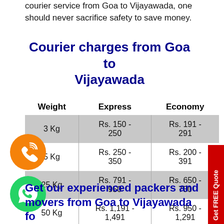courier service from Goa to Vijayawada, one should never sacrifice safety to save money.
Courier charges from Goa to Vijayawada
| Weight | Express | Economy |
| --- | --- | --- |
| 3 Kg | Rs. 150 - 250 | Rs. 191 - 291 |
| 5 Kg | Rs. 250 - 350 | Rs. 200 - 391 |
| 25 Kg | Rs. 791 - 950 | Rs. 650 - 750 |
| 50 Kg | Rs. 1,191 - 1,491 | Rs. 950 - 1,291 |
Get our experienced packers and movers from Goa to Vijayawada fo...